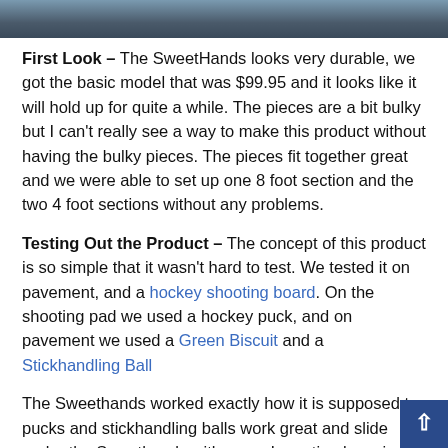[Figure (photo): Partial photo strip at top of page showing a dark/grey surface, likely a hockey training product outdoors.]
First Look – The SweetHands looks very durable, we got the basic model that was $99.95 and it looks like it will hold up for quite a while. The pieces are a bit bulky but I can't really see a way to make this product without having the bulky pieces. The pieces fit together great and we were able to set up one 8 foot section and the two 4 foot sections without any problems.
Testing Out the Product – The concept of this product is so simple that it wasn't hard to test. We tested it on pavement, and a hockey shooting board. On the shooting pad we used a hockey puck, and on pavement we used a Green Biscuit and a Stickhandling Ball
The Sweethands worked exactly how it is supposed to, pucks and stickhandling balls work great and slide under the Sweethands with ease. I practiced moving the puck under ea